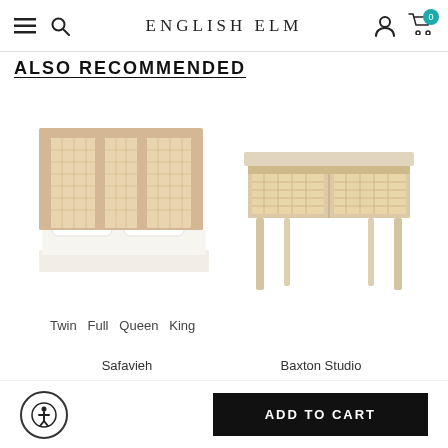ENGLISH ELM
ALSO RECOMMENDED
[Figure (photo): Rattan cane headboard bed with white bedding, natural wood finish]
[Figure (photo): Light wood console table with two rattan cane drawer fronts and four angled legs]
Twin  Full  Queen  King
Safavieh
Baxton Studio
ADD TO CART